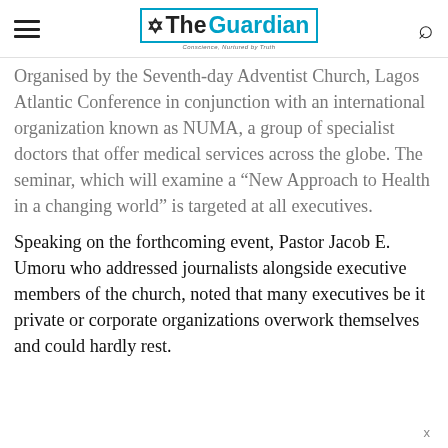The Guardian — Conscience, Nurtured by Truth
Organised by the Seventh-day Adventist Church, Lagos Atlantic Conference in conjunction with an international organization known as NUMA, a group of specialist doctors that offer medical services across the globe. The seminar, which will examine a “New Approach to Health in a changing world” is targeted at all executives.
Speaking on the forthcoming event, Pastor Jacob E. Umoru who addressed journalists alongside executive members of the church, noted that many executives be it private or corporate organizations overwork themselves and could hardly rest.